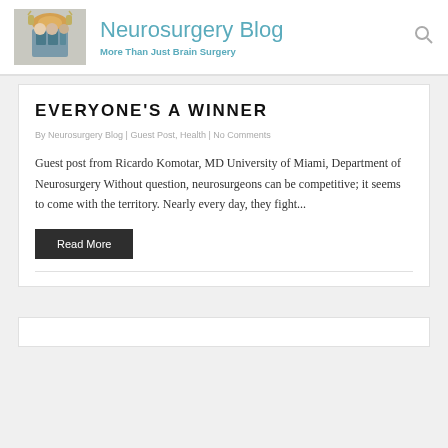Neurosurgery Blog | More Than Just Brain Surgery
EVERYONE'S A WINNER
By Neurosurgery Blog | Guest Post, Health | No Comments
Guest post from Ricardo Komotar, MD University of Miami, Department of Neurosurgery Without question, neurosurgeons can be competitive; it seems to come with the territory. Nearly every day, they fight...
Read More